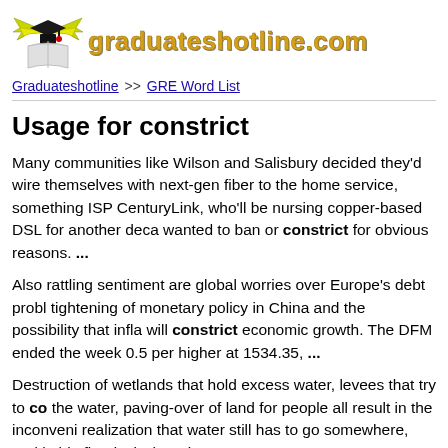[Figure (logo): Graduateshotline.com logo with graduation cap and wings over an open book, with yellow/green wing colors and the site name in gold/yellow bold text]
Graduateshotline >> GRE Word List
Usage for constrict
Many communities like Wilson and Salisbury decided they'd wire themselves with next-gen fiber to the home service, something ISP CenturyLink, who'll be nursing copper-based DSL for another decade wanted to ban or constrict for obvious reasons. ...
Also rattling sentiment are global worries over Europe's debt problems, tightening of monetary policy in China and the possibility that inflation will constrict economic growth. The DFM ended the week 0.5 per higher at 1534.35, ...
Destruction of wetlands that hold excess water, levees that try to constrict the water, paving-over of land for people all result in the inconvenient realization that water still has to go somewhere, and in big floods, it goes where it wants to go. ...